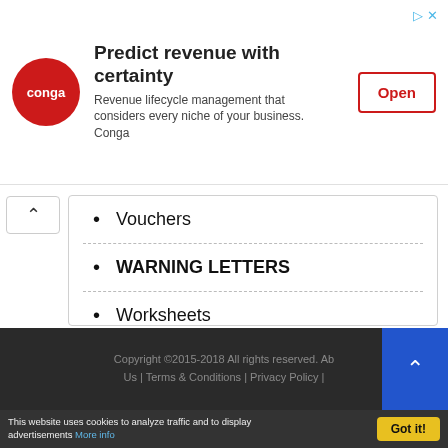[Figure (other): Conga advertisement banner with red circle logo, headline 'Predict revenue with certainty', subtext 'Revenue lifecycle management that considers every niche of your business. Conga', and an 'Open' button with red border.]
Vouchers
WARNING LETTERS
Worksheets
Copyright ©2015-2018 All rights reserved. Ab... Us | Terms & Conditions | Privacy Policy |
This website uses cookies to analyze traffic and to display advertisements More info